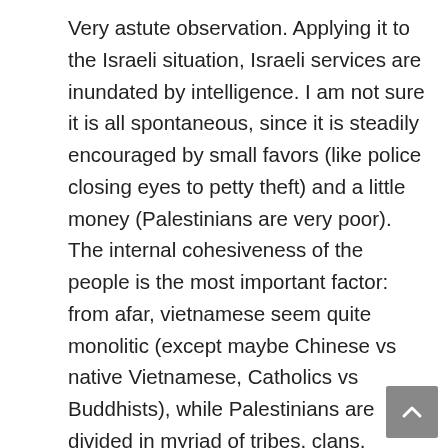Very astute observation. Applying it to the Israeli situation, Israeli services are inundated by intelligence. I am not sure it is all spontaneous, since it is steadily encouraged by small favors (like police closing eyes to petty theft) and a little money (Palestinians are very poor). The internal cohesiveness of the people is the most important factor: from afar, vietnamese seem quite monolitic (except maybe Chinese vs native Vietnamese, Catholics vs Buddhists), while Palestinians are divided in myriad of tribes, clans, fallahin vs beduins, descendants of Arabs vs Muslim immigrants, Whites vs descendants of African slaves. And having lived under dictatures, they are used to